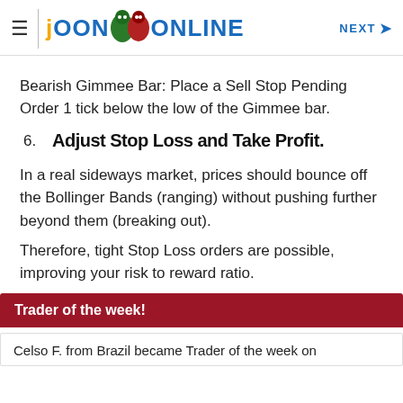≡ | JOON ONLINE  NEXT →
Bearish Gimmee Bar: Place a Sell Stop Pending Order 1 tick below the low of the Gimmee bar.
6. Adjust Stop Loss and Take Profit.
In a real sideways market, prices should bounce off the Bollinger Bands (ranging) without pushing further beyond them (breaking out).
Therefore, tight Stop Loss orders are possible, improving your risk to reward ratio.
Trader of the week!
Celso F. from Brazil became Trader of the week on